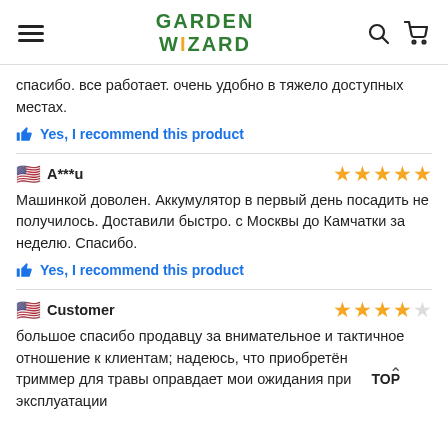GARDEN WIZARD
спасибо. все работает. очень удобно в тяжело доступных местах.
👍 Yes, I recommend this product
A***u — 5 stars
Машинкой доволен. Аккумулятор в первый день посадить не получилось. Доставили быстро. с Москвы до Камчатки за неделю. Спасибо.
👍 Yes, I recommend this product
Customer — 4 stars
большое спасибо продавцу за внимательное и тактичное отношение к клиентам; надеюсь, что приобретённый триммер для травы оправдает мои ожидания при эксплуатации